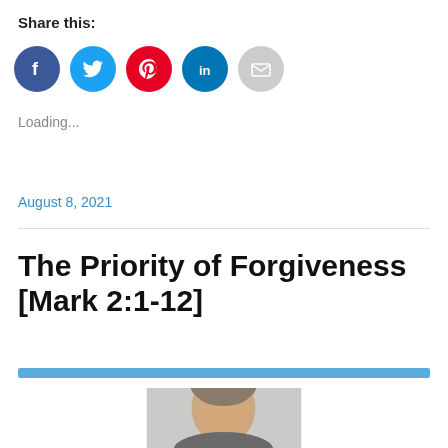Share this:
[Figure (other): Social media sharing icons: Facebook (blue circle), Twitter (light blue circle), Pinterest (red circle), LinkedIn (dark blue circle with 'in'), Email (grey circle with envelope icon)]
Loading...
August 8, 2021
The Priority of Forgiveness [Mark 2:1-12]
[Figure (photo): A horizontal blue decorative bar followed by a partial photo of a person (head and shoulders, grey/brown hair, light background)]